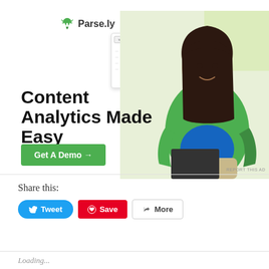[Figure (screenshot): Parse.ly advertisement banner. Logo with green leaf icon and 'Parse.ly' text. Screenshot of analytics dashboard with green area chart. Photo of woman in green sweater. Headline: 'Content Analytics Made Easy'. Green CTA button: 'Get A Demo →'. Small text 'REPORT THIS AD' at bottom right.]
Share this:
[Figure (other): Tweet button (blue, rounded), Save button (red Pinterest), More button (grey with share icon)]
Loading...